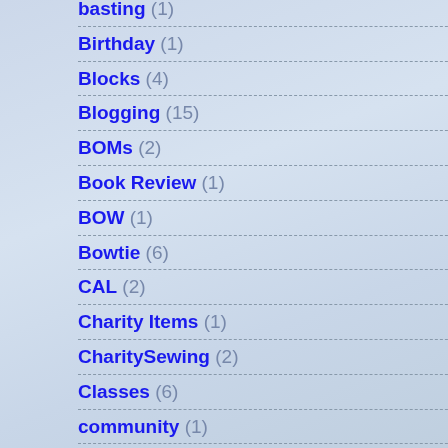basting (1)
Birthday (1)
Blocks (4)
Blogging (15)
BOMs (2)
Book Review (1)
BOW (1)
Bowtie (6)
CAL (2)
Charity Items (1)
CharitySewing (2)
Classes (6)
community (1)
Computer (1)
Cooking (3)
CrazyQuilting (1)
crochet (25)